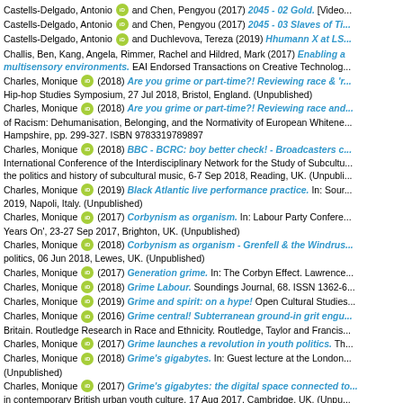Castells-Delgado, Antonio [iD] and Chen, Pengyou (2017) 2045 - 02 Gold. [Video...]
Castells-Delgado, Antonio [iD] and Chen, Pengyou (2017) 2045 - 03 Slaves of Ti...
Castells-Delgado, Antonio [iD] and Duchlevova, Tereza (2019) Hhumann X at LS...
Challis, Ben, Kang, Angela, Rimmer, Rachel and Hildred, Mark (2017) Enabling a multisensory environments. EAI Endorsed Transactions on Creative Technolog...
Charles, Monique [iD] (2018) Are you grime or part-time?! Reviewing race & 'r... Hip-hop Studies Symposium, 27 Jul 2018, Bristol, England. (Unpublished)
Charles, Monique [iD] (2018) Are you grime or part-time?! Reviewing race and... of Racism: Dehumanisation, Belonging, and the Normativity of European Whitene... Hampshire, pp. 299-327. ISBN 9783319789897
Charles, Monique [iD] (2018) BBC - BCRC: boy better check! - Broadcasters c... International Conference of the Interdisciplinary Network for the Study of Subcultu... the politics and history of subcultural music, 6-7 Sep 2018, Reading, UK. (Unpubli...
Charles, Monique [iD] (2019) Black Atlantic live performance practice. In: Sour... 2019, Napoli, Italy. (Unpublished)
Charles, Monique [iD] (2017) Corbynism as organism. In: Labour Party Confere... Years On', 23-27 Sep 2017, Brighton, UK. (Unpublished)
Charles, Monique [iD] (2018) Corbynism as organism - Grenfell & the Windrus... politics, 06 Jun 2018, Lewes, UK. (Unpublished)
Charles, Monique [iD] (2017) Generation grime. In: The Corbyn Effect. Lawrence...
Charles, Monique [iD] (2018) Grime Labour. Soundings Journal, 68. ISSN 1362-6...
Charles, Monique [iD] (2019) Grime and spirit: on a hype! Open Cultural Studies...
Charles, Monique [iD] (2016) Grime central! Subterranean ground-in grit engu... Britain. Routledge Research in Race and Ethnicity. Routledge, Taylor and Francis...
Charles, Monique [iD] (2017) Grime launches a revolution in youth politics. Th...
Charles, Monique [iD] (2018) Grime's gigabytes. In: Guest lecture at the London... (Unpublished)
Charles, Monique [iD] (2017) Grime's gigabytes: the digital space connected to... in contemporary British urban youth culture, 17 Aug 2017, Cambridge, UK. (Unpu...